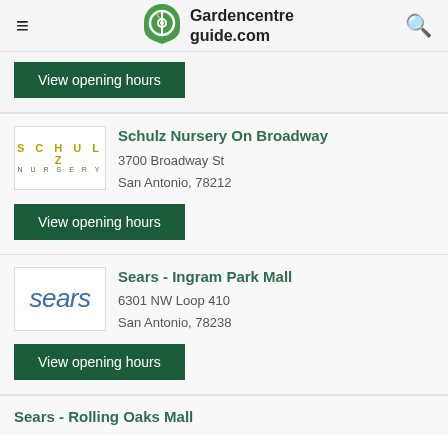Gardencentreguide.com
[Figure (screenshot): View opening hours button (top, partial card)]
Schulz Nursery On Broadway
3700 Broadway St
San Antonio, 78212
[Figure (logo): Schulz Nursery logo]
[Figure (screenshot): View opening hours button for Schulz Nursery]
Sears - Ingram Park Mall
6301 NW Loop 410
San Antonio, 78238
[Figure (logo): Sears logo]
[Figure (screenshot): View opening hours button for Sears Ingram Park Mall]
Sears - Rolling Oaks Mall